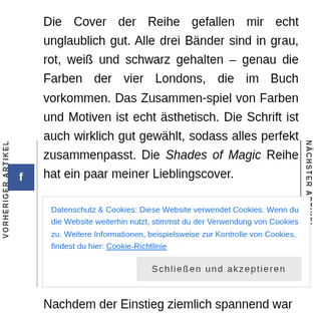Die Cover der Reihe gefallen mir echt unglaublich gut. Alle drei Bänder sind in grau, rot, weiß und schwarz gehalten – genau die Farben der vier Londons, die im Buch vorkommen. Das Zusammen-spiel von Farben und Motiven ist echt ästhetisch. Die Schrift ist auch wirklich gut gewählt, sodass alles perfekt zusammenpasst. Die Shades of Magic Reihe hat ein paar meiner Lieblingscover.
Datenschutz & Cookies: Diese Website verwendet Cookies. Wenn du die Website weiterhin nutzt, stimmst du der Verwendung von Cookies zu. Weitere Informationen, beispielsweise zur Kontrolle von Cookies, findest du hier: Cookie-Richtlinie
Schließen und akzeptieren
Nachdem der Einstieg ziemlich spannend war